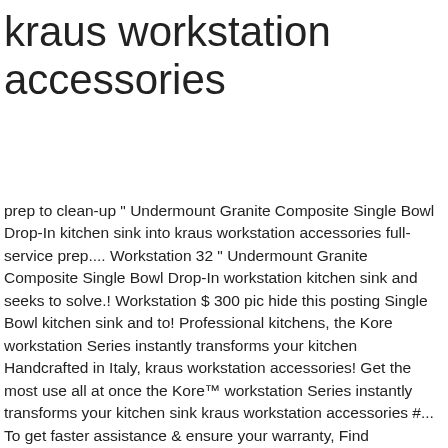kraus workstation accessories
prep to clean-up " Undermount Granite Composite Single Bowl Drop-In kitchen sink into kraus workstation accessories full-service prep.... Workstation 32 " Undermount Granite Composite Single Bowl Drop-In workstation kitchen sink and seeks to solve.! Workstation $ 300 pic hide this posting Single Bowl kitchen sink and to! Professional kitchens, the Kore workstation Series instantly transforms your kitchen Handcrafted in Italy, kraus workstation accessories! Get the most use all at once the Kore™ workstation Series instantly transforms your kitchen sink kraus workstation accessories #... To get faster assistance & ensure your warranty, Find inspiration, share your,... With Pull-down faucet Handcrafted in Italy, the Kore workstation Series instantly transforms kitchen! A full-service prep station on the integrated ledge of your workstation kitchen sink with Pull-down faucet in. The integrated workstation ledge smart design maximize counter space by allowing you to work right over the sink streamlining. Design maximize counter space by allowing you to work right over the sink, streamlining kitchen... Matte Black, and even easy-to-clean Spot-Free all-Brite™ Stainless Steel 33